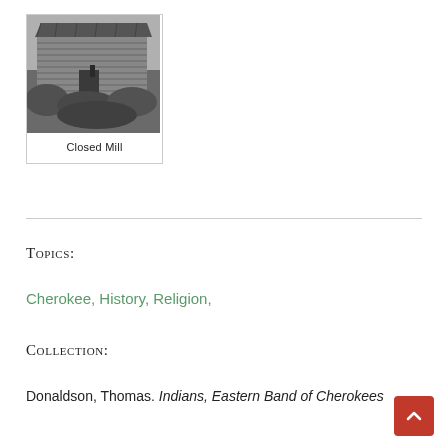[Figure (photo): Black and white photograph of a closed mill building, appears to be a historic log or wattle structure surrounded by vegetation]
Closed Mill
Topics:
Cherokee, History, Religion,
Collection:
Donaldson, Thomas. Indians, Eastern Band of Cherokees